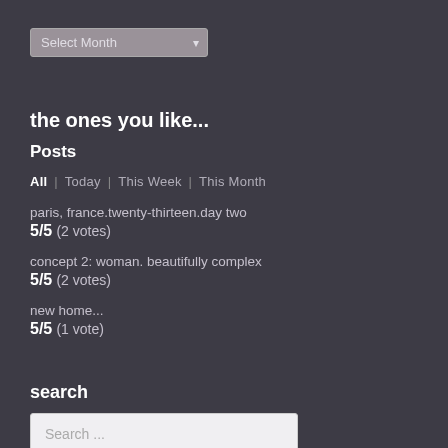[Figure (other): Dropdown select box labeled 'Select Month' with arrow indicator]
the ones you like...
Posts
All | Today | This Week | This Month
paris, france.twenty-thirteen.day two
5/5 (2 votes)
concept 2: woman. beautifully complex
5/5 (2 votes)
new home...
5/5 (1 vote)
search
[Figure (other): Search input box with placeholder text 'Search ...']